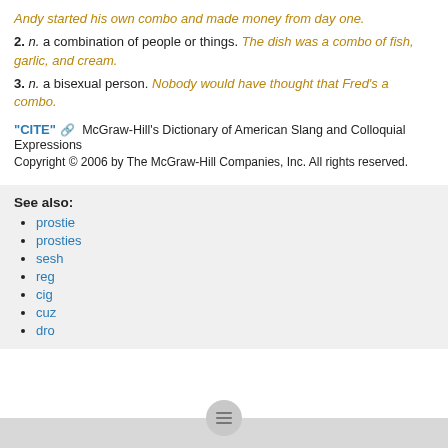Andy started his own combo and made money from day one.
2. n. a combination of people or things. The dish was a combo of fish, garlic, and cream.
3. n. a bisexual person. Nobody would have thought that Fred's a combo.
"CITE" [link icon]  McGraw-Hill's Dictionary of American Slang and Colloquial Expressions
Copyright © 2006 by The McGraw-Hill Companies, Inc. All rights reserved.
See also:
prostie
prosties
sesh
reg
cig
cuz
dro